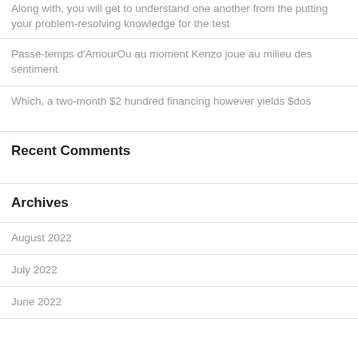Along with, you will get to understand one another from the putting your problem-resolving knowledge for the test
Passe-temps d'AmourOu au moment Kenzo joue au milieu des sentiment
Which, a two-month $2 hundred financing however yields $dos
Recent Comments
Archives
August 2022
July 2022
June 2022